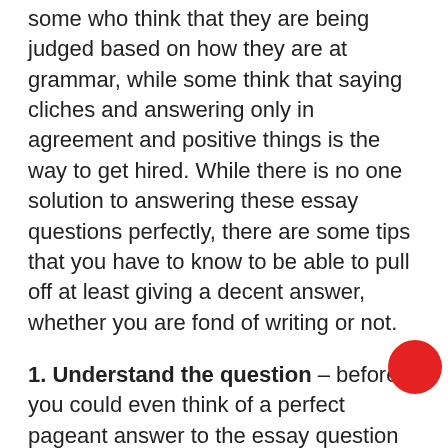some who think that they are being judged based on how they are at grammar, while some think that saying cliches and answering only in agreement and positive things is the way to get hired. While there is no one solution to answering these essay questions perfectly, there are some tips that you have to know to be able to pull off at least giving a decent answer, whether you are fond of writing or not.
1. Understand the question – before you could even think of a perfect pageant answer to the essay question presented to you, you have to understand first the question, and why it is being asked. Some common essay questions might include, “Cite the most important problems or concerns your field is facing today and your take on these.” or “Explain the
[Figure (illustration): A red circle (dot) overlaid on the bottom-right area of the text, partially covering the end of a line of text.]